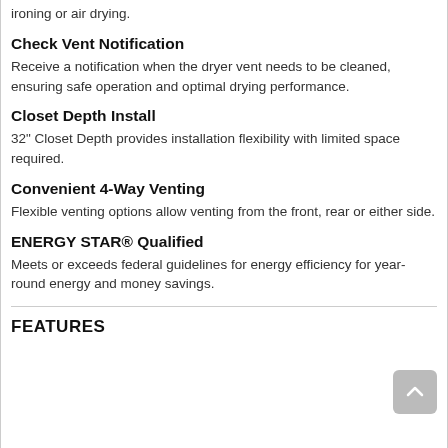ironing or air drying.
Check Vent Notification
Receive a notification when the dryer vent needs to be cleaned, ensuring safe operation and optimal drying performance.
Closet Depth Install
32" Closet Depth provides installation flexibility with limited space required.
Convenient 4-Way Venting
Flexible venting options allow venting from the front, rear or either side.
ENERGY STAR® Qualified
Meets or exceeds federal guidelines for energy efficiency for year-round energy and money savings.
FEATURES